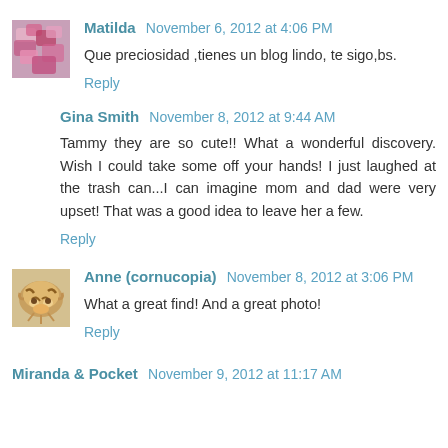Matilda November 6, 2012 at 4:06 PM
Que preciosidad ,tienes un blog lindo, te sigo,bs.
Reply
Gina Smith November 8, 2012 at 9:44 AM
Tammy they are so cute!! What a wonderful discovery. Wish I could take some off your hands! I just laughed at the trash can...I can imagine mom and dad were very upset! That was a good idea to leave her a few.
Reply
Anne (cornucopia) November 8, 2012 at 3:06 PM
What a great find! And a great photo!
Reply
Miranda & Pocket November 9, 2012 at 11:17 AM